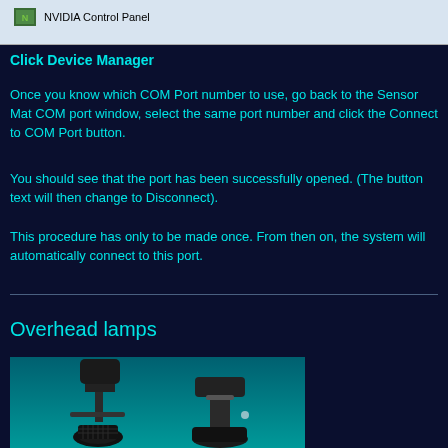[Figure (screenshot): Windows context menu screenshot showing NVIDIA Control Panel option with green NVIDIA icon]
Click Device Manager
Once you know which COM Port number to use, go back to the Sensor Mat COM port window, select the same port number and click the Connect to COM Port button.
You should see that the port has been successfully opened. (The button text will then change to Disconnect).
This procedure has only to be made once. From then on, the system will automatically connect to this port.
Overhead lamps
[Figure (photo): Photo of overhead track lighting lamps, black fixtures with spotlight heads on a teal/cyan background]